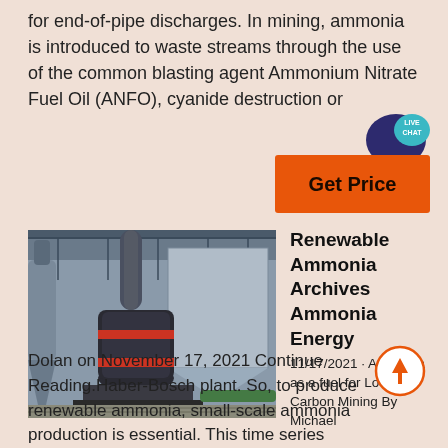for end-of-pipe discharges. In mining, ammonia is introduced to waste streams through the use of the common blasting agent Ammonium Nitrate Fuel Oil (ANFO), cyanide destruction or
[Figure (infographic): Live Chat speech bubble in teal/dark blue]
[Figure (infographic): Get Price orange button]
[Figure (photo): Industrial facility interior with large cylindrical grinding mill and dust collection equipment, watermarked with CCM logo]
Renewable Ammonia Archives Ammonia Energy
11/17/2021 · Ammonia as a fuel for Low-Carbon Mining By Michael Dolan on November 17, 2021 Continue Reading.Haber-Bosch plant. So, to produce renewable ammonia, small-scale ammonia production is essential. This time series
[Figure (infographic): Arrow up circle button in coral/orange outline]
Dolan on November 17, 2021 Continue Reading.Haber-Bosch plant. So, to produce renewable ammonia, small-scale ammonia production is essential. This time series